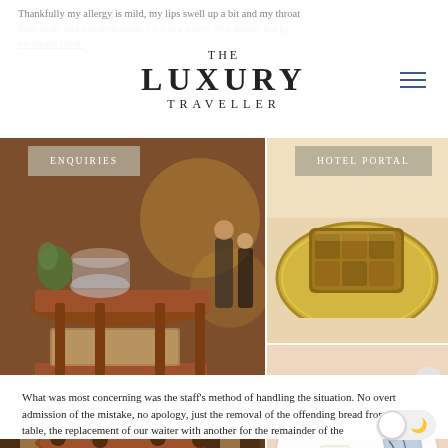Thankfully my allergy is mild, my lips swell up a bit and my throat feels itchy and uncomfortable for a few hours. Not deadly but by no means ideal.
THE LUXURY TRAVELLER
[Figure (photo): Navigation buttons: ENQUIRIES and HOTEL PORTAL overlaid on a photo grid. Left: a wooden dessert/bread trolley in an elegant restaurant dining room. Top-right: a golden/bronze coloured pastry or confection on a decorative silver plate. Bottom-right: a white plate with cheese selections and dark berry jam/compote.]
What was most concerning was the staff's method of handling the situation. No overt admission of the mistake, no apology, just the removal of the offending bread from the table, the replacement of our waiter with another for the remainder of the